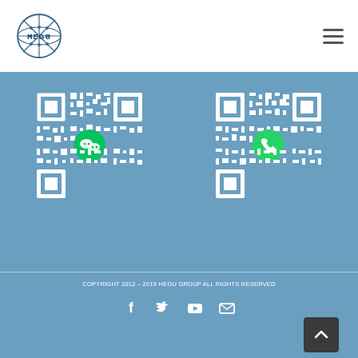[Figure (logo): HEGU group logo — globe with lattice pattern and HEGU text]
[Figure (other): Hamburger menu icon (three horizontal lines)]
[Figure (other): QR code with WeChat icon in center, on blue background]
[Figure (other): QR code with WhatsApp icon in center, on blue background]
COPYRIGHT 2012 - 2019 HEGU GROUP ALL RIGHTS RESERVED
[Figure (other): Social media icons: Facebook, Twitter, YouTube, Email]
[Figure (other): Back to top button with upward chevron arrow]